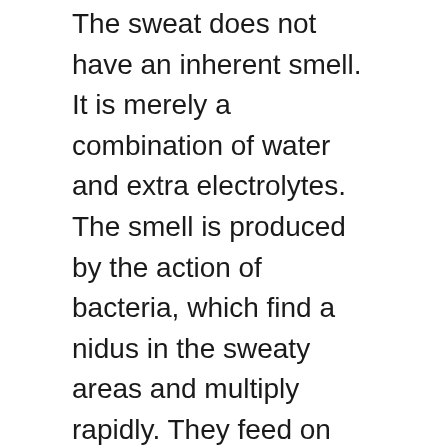The sweat does not have an inherent smell. It is merely a combination of water and extra electrolytes. The smell is produced by the action of bacteria, which find a nidus in the sweaty areas and multiply rapidly. They feed on the waste material excreted in sweat and produce the waste products that accumulate and cause the bad odor. The body has specific areas that act as a source of this sweat and odor, and these are the places that need protection by deodorants.
Hence, we are recommended the use of deodorants. A deodorant has anti-bacterial properties. It kills the bacteria that grow in the armpits, so they don’t produce odor. In contrast to antiperspirants, deodorants do not stop or reduce the amount of sweat produced. They merely kill the bacteria and also stop the bacteria from growing